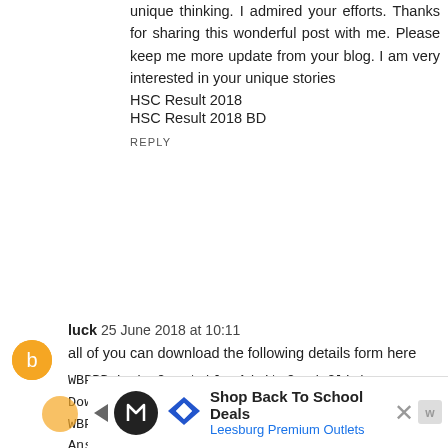unique thinking. I admired your efforts. Thanks for sharing this wonderful post with me. Please keep me more update from your blog. I am very interested in your unique stories
HSC Result 2018
HSC Result 2018 BD
REPLY
luck  25 June 2018 at 10:11
all of you can download the following details form here
WBPRB Lady Constable Admit Card Click Download Admit Card
WBPRB Lady Constable Answer Key Download Answer Key
CMWSSB JA Result Click Here For Result
TSPSC VRO exam TSPSC VRO Answer Key Download
REPLY
[Figure (infographic): Advertisement banner: Shop Back To School Deals - Leesburg Premium Outlets, with logo icons and close button]